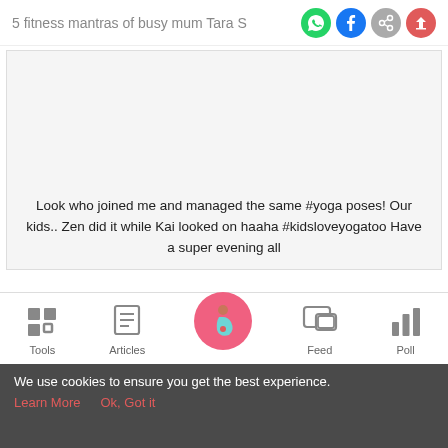5 fitness mantras of busy mum Tara S
[Figure (screenshot): Social media post content area with light gray background showing yoga post text]
Look who joined me and managed the same #yoga poses! Our kids.. Zen did it while Kai looked on haaha #kidsloveyogatoo Have a super evening all
[Figure (infographic): Bottom navigation bar with Tools, Articles, center pregnancy icon button, Feed, and Poll items]
We use cookies to ensure you get the best experience. Learn More  Ok, Got it